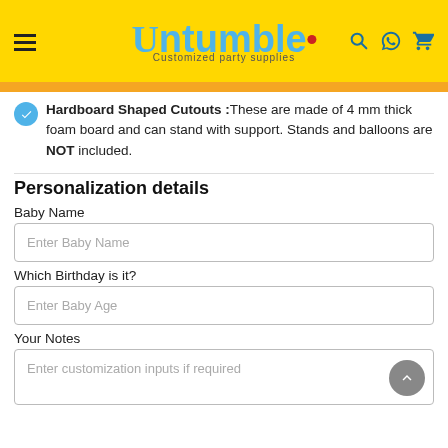Untumble - Customized party supplies
Hardboard Shaped Cutouts :These are made of 4 mm thick foam board and can stand with support. Stands and balloons are NOT included.
Personalization details
Baby Name
Enter Baby Name
Which Birthday is it?
Enter Baby Age
Your Notes
Enter customization inputs if required